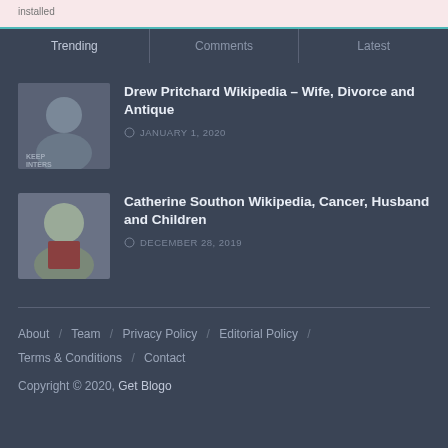installed
Trending | Comments | Latest
Drew Pritchard Wikipedia – Wife, Divorce and Antique
JANUARY 1, 2020
Catherine Southon Wikipedia, Cancer, Husband and Children
DECEMBER 28, 2019
About / Team / Privacy Policy / Editorial Policy / Terms & Conditions / Contact
Copyright © 2020, Get Blogo